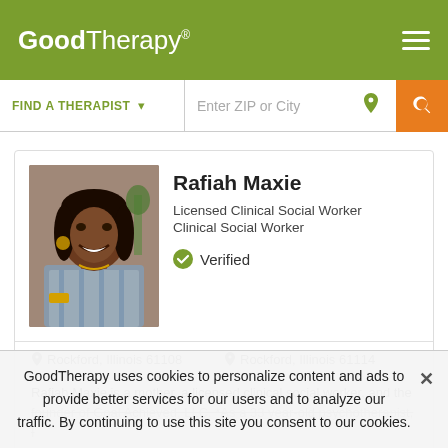GoodTherapy®
FIND A THERAPIST  ▾  Enter ZIP or City
[Figure (photo): Profile photo of Rafiah Maxie, a woman with dark hair, smiling, wearing a plaid shirt and gold jewelry]
Rafiah Maxie
Licensed Clinical Social Worker
Clinical Social Worker
✓ Verified
Rockford, Illinois 61108   Rockford, Illinois 61114
Rafiah Maxie is a mother, a licensed clinical social worker, and the founder of Goal Achieved, LLC. *As a 33 year-old psychotherapist, I
GoodTherapy uses cookies to personalize content and ads to provide better services for our users and to analyze our traffic. By continuing to use this site you consent to our cookies.